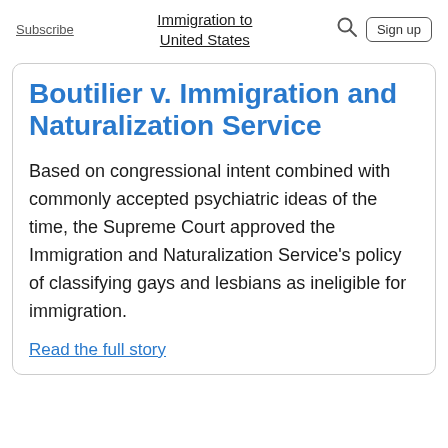Subscribe | Immigration to United States | Sign up
Boutilier v. Immigration and Naturalization Service
Based on congressional intent combined with commonly accepted psychiatric ideas of the time, the Supreme Court approved the Immigration and Naturalization Service's policy of classifying gays and lesbians as ineligible for immigration.
Read the full story